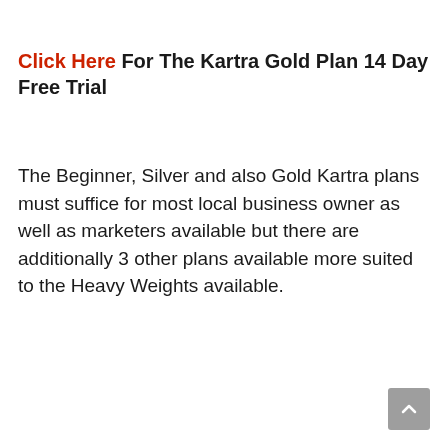Click Here For The Kartra Gold Plan 14 Day Free Trial
The Beginner, Silver and also Gold Kartra plans must suffice for most local business owner as well as marketers available but there are additionally 3 other plans available more suited to the Heavy Weights available.